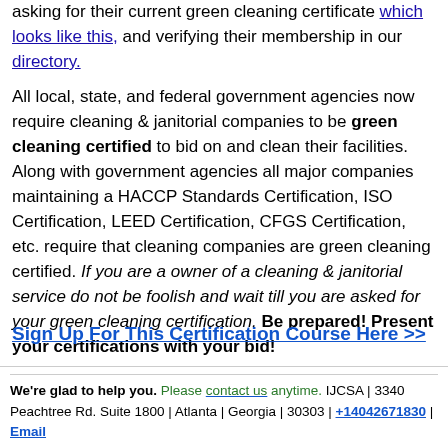asking for their current green cleaning certificate which looks like this, and verifying their membership in our directory. All local, state, and federal government agencies now require cleaning & janitorial companies to be green cleaning certified to bid on and clean their facilities. Along with government agencies all major companies maintaining a HACCP Standards Certification, ISO Certification, LEED Certification, CFGS Certification, etc. require that cleaning companies are green cleaning certified. If you are a owner of a cleaning & janitorial service do not be foolish and wait till you are asked for your green cleaning certification. Be prepared! Present your certifications with your bid!
Sign Up For This Certification Course Here >>
We're glad to help you. Please contact us anytime. IJCSA | 3340 Peachtree Rd. Suite 1800 | Atlanta | Georgia | 30303 | +14042671830 | Email